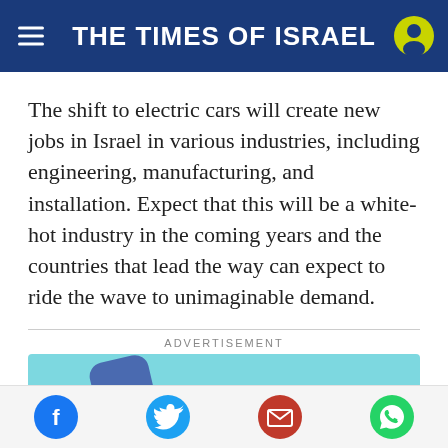THE TIMES OF ISRAEL
The shift to electric cars will create new jobs in Israel in various industries, including engineering, manufacturing, and installation. Expect that this will be a white-hot industry in the coming years and the countries that lead the way can expect to ride the wave to unimaginable demand.
ADVERTISEMENT
[Figure (photo): Advertisement for Geniani heating pad for back pain & cramps relief, showing a cylindrical product and a blue heating pad on a light blue background.]